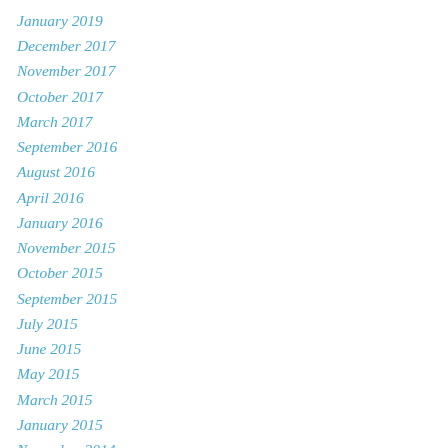January 2019
December 2017
November 2017
October 2017
March 2017
September 2016
August 2016
April 2016
January 2016
November 2015
October 2015
September 2015
July 2015
June 2015
May 2015
March 2015
January 2015
November 2014
September 2014
August 2014